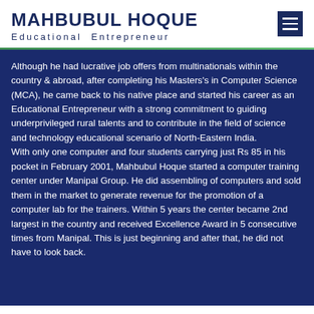MAHBUBUL HOQUE
Educational Entrepreneur
Although he had lucrative job offers from multinationals within the country & abroad, after completing his Masters's in Computer Science (MCA), he came back to his native place and started his career as an Educational Entrepreneur with a strong commitment to guiding underprivileged rural talents and to contribute in the field of science and technology educational scenario of North-Eastern India.
With only one computer and four students carrying just Rs 85 in his pocket in February 2001, Mahbubul Hoque started a computer training center under Manipal Group. He did assembling of computers and sold them in the market to generate revenue for the promotion of a computer lab for the trainers. Within 5 years the center became 2nd largest in the country and received Excellence Award in 5 consecutive times from Manipal. This is just beginning and after that, he did not have to look back.